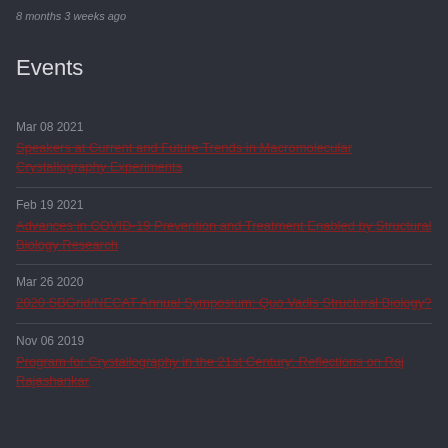8 months 3 weeks ago
Events
Mar 08 2021 — Speakers at Current and Future Trends in Macromolecular Crystallography Experiments
Feb 19 2021 — Advances in COVID-19 Prevention and Treatment Enabled by Structural Biology Research
Mar 26 2020 — 2020 SBGrid/NECAT Annual Symposium: Quo Vadis Structural Biology?
Nov 06 2019 — Program for Crystallography in the 21st Century: Reflections on Raj Rajashankar